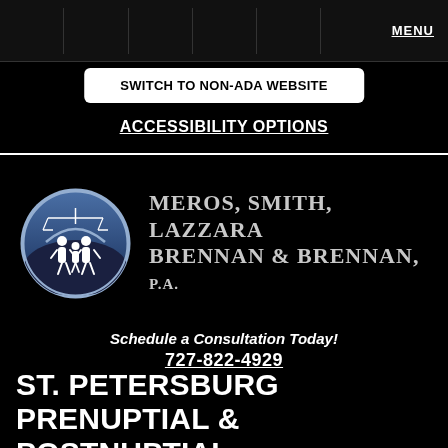MENU
SWITCH TO NON-ADA WEBSITE
ACCESSIBILITY OPTIONS
[Figure (logo): Meros, Smith, Lazzara, Brennan & Brennan P.A. law firm logo: circular blue and dark badge with stylized family figures and scales of justice, alongside firm name text]
Schedule a Consultation Today!
727-822-4929
ST. PETERSBURG PRENUPTIAL & POSTNUPTIAL AGREEMENTS LAWYER